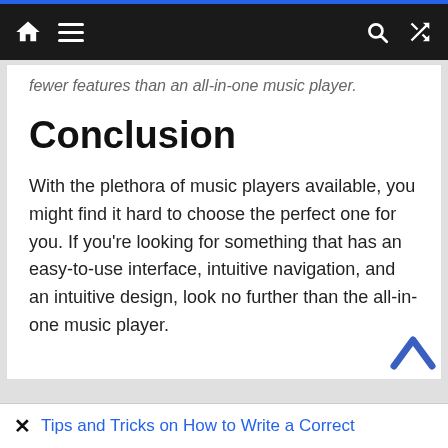Navigation bar with home, menu, search, and shuffle icons
fewer features than an all-in-one music player.
Conclusion
With the plethora of music players available, you might find it hard to choose the perfect one for you. If you're looking for something that has an easy-to-use interface, intuitive navigation, and an intuitive design, look no further than the all-in-one music player.
× Tips and Tricks on How to Write a Correct